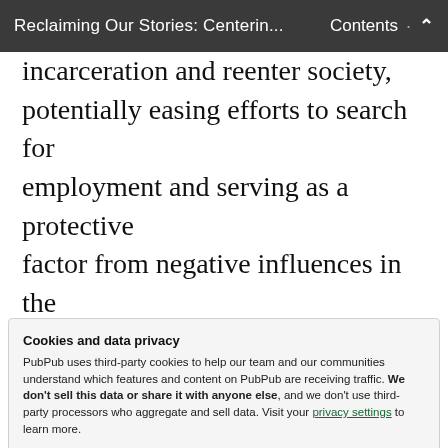Reclaiming Our Stories: Centerin... · Contents ︿
incarceration and reenter society, potentially easing efforts to search for employment and serving as a protective factor from negative influences in the community. Yet, BIWOC may encounter various barriers obtaining stable housing given the limited housing options for formerly incarcerated individuals as well
Cookies and data privacy
PubPub uses third-party cookies to help our team and our communities understand which features and content on PubPub are receiving traffic. We don't sell this data or share it with anyone else, and we don't use third-party processors who aggregate and sell data. Visit your privacy settings to learn more.
Accept  Disable
incarceration inherently limits the ability